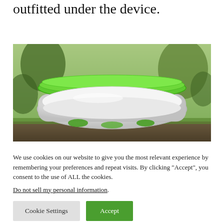outfitted under the device.
[Figure (photo): Close-up photo of a robotic lawn mower with a white body and green accent rings on top, sitting on grass/soil in a garden setting.]
We use cookies on our website to give you the most relevant experience by remembering your preferences and repeat visits. By clicking “Accept”, you consent to the use of ALL the cookies.
Do not sell my personal information.
Cookie Settings
Accept